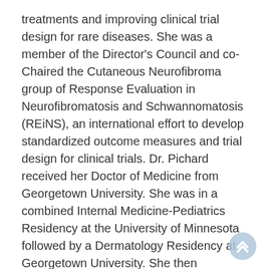treatments and improving clinical trial design for rare diseases. She was a member of the Director's Council and co-Chaired the Cutaneous Neurofibroma group of Response Evaluation in Neurofibromatosis and Schwannomatosis (REiNS), an international effort to develop standardized outcome measures and trial design for clinical trials. Dr. Pichard received her Doctor of Medicine from Georgetown University. She was in a combined Internal Medicine-Pediatrics Residency at the University of Minnesota followed by a Dermatology Residency at Georgetown University. She then completed a Clinical Research Fellowship at the NIH.
As the parent of a daughter with Rett syndrome,